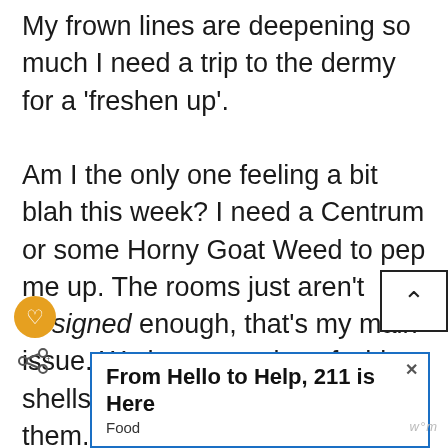My frown lines are deepening so much I need a trip to the dermy for a 'freshen up'. Am I the only one feeling a bit blah this week? I need a Centrum or some Horny Goat Weed to pep me up. The rooms just aren't designed enough, that's my main issue. We have a series of white shells with furniture plonked in them. And with so many of the spaces being rather large this time around, this was a week where the under-designing of a room stood out even more. I don't feel like concepts have been d...
[Figure (infographic): Heart/like button (gold circle with white heart icon) and share icon below it]
[Figure (infographic): Scroll-to-top button (white square with black border and up caret symbol)]
[Figure (infographic): Advertisement banner: 'From Hello to Help, 211 is Here' with close button and 'Food' subcategory label]